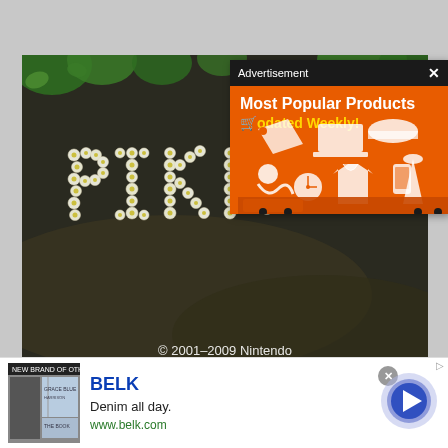[Figure (screenshot): Screenshot of a video game (Pikmin) title screen showing letters spelling PIKMIN made of white flowers on a rocky/mossy nature background. Overlaid with an 'Advertisement' popup panel showing 'Most Popular Products Updated Weekly!' on orange background with shopping icons. Bottom shows copyright '© 2001-2009 Nintendo'.]
[Figure (screenshot): Bottom banner advertisement for BELK department store. Shows 'BELK' in blue, 'Denim all day.' in black, 'www.belk.com' in green. Thumbnail image of women in denim. Navigation arrow button on right.]